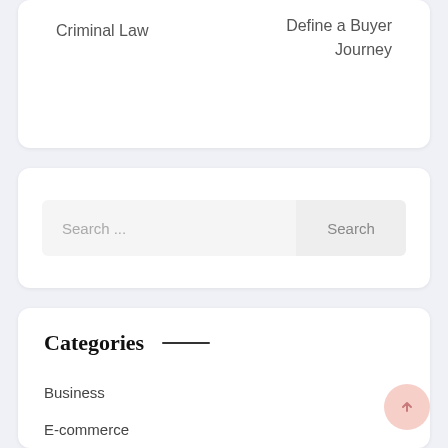Criminal Law
Define a Buyer Journey
Search ...
Search
Categories
Business
E-commerce
Finance
Gambling